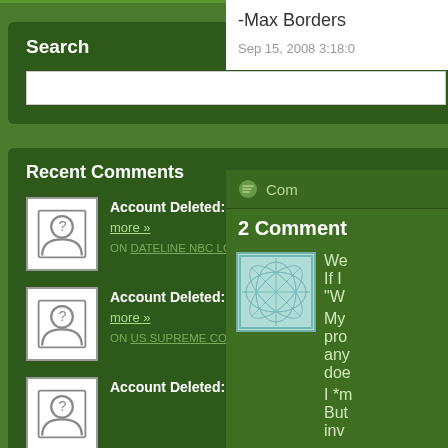Search
Search input and button
Recent Comments
Account Deleted: Its sad how fraud has become a part of such an ... more » ON DATELINE NBC LOOKS AT LOTTERY FRAUD
Account Deleted: In a company, there are employees who are paid... more » ON US SUPREME COURT UPHOLDS BAN ON PAYROLL DEDUCTIONS FOR UNION PACS
Account Deleted: Yes, countries around the world should focus on...
-Max Borders
Sep 15, 2008 3:18:0
Com
2 Comment
We
If I
"W
My
pro
any
doe
I *m
But
inv